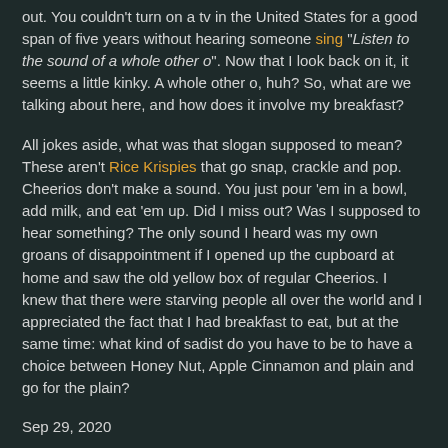out.  You couldn't turn on a tv in the United States for a good span of five years without hearing someone sing "Listen to the sound of a whole other o".  Now that I look back on it, it seems a little kinky.  A whole other o, huh?  So, what are we talking about here, and how does it involve my breakfast?
All jokes aside, what was that slogan supposed to mean?  These aren't Rice Krispies that go snap, crackle and pop.  Cheerios don't make a sound.  You just pour 'em in a bowl, add milk, and eat 'em up.  Did I miss out?  Was I supposed to hear something?  The only sound I heard was my own groans of disappointment if I opened up the cupboard at home and saw the old yellow box of regular Cheerios.  I knew that there were starving people all over the world and I appreciated the fact that I had breakfast to eat, but at the same time: what kind of sadist do you have to be to have a choice between Honey Nut, Apple Cinnamon and plain and go for the plain?
Sep 29, 2020